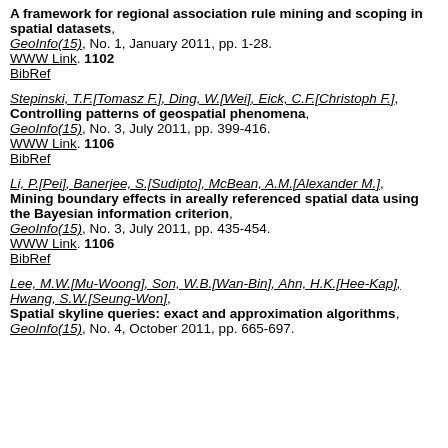A framework for regional association rule mining and scoping in spatial datasets, GeoInfo(15), No. 1, January 2011, pp. 1-28. WWW Link. 1102 BibRef
Stepinski, T.F.[Tomasz F.], Ding, W.[Wei], Eick, C.F.[Christoph F.], Controlling patterns of geospatial phenomena, GeoInfo(15), No. 3, July 2011, pp. 399-416. WWW Link. 1106 BibRef
Li, P.[Pei], Banerjee, S.[Sudipto], McBean, A.M.[Alexander M.], Mining boundary effects in areally referenced spatial data using the Bayesian information criterion, GeoInfo(15), No. 3, July 2011, pp. 435-454. WWW Link. 1106 BibRef
Lee, M.W.[Mu-Woong], Son, W.B.[Wan-Bin], Ahn, H.K.[Hee-Kap], Hwang, S.W.[Seung-Won], Spatial skyline queries: exact and approximation algorithms, GeoInfo(15), No. 4, October 2011, pp. 665-697.